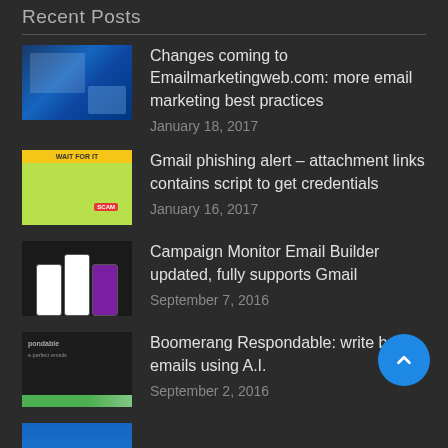Recent Posts
Changes coming to Emailmarketingweb.com: more email marketing best practices
January 18, 2017
Gmail phishing alert – attachment links contains script to get credentials
January 16, 2017
Campaign Monitor Email Builder updated, fully supports Gmail
September 7, 2016
Boomerang Respondable: write better emails using A.I.
September 2, 2016